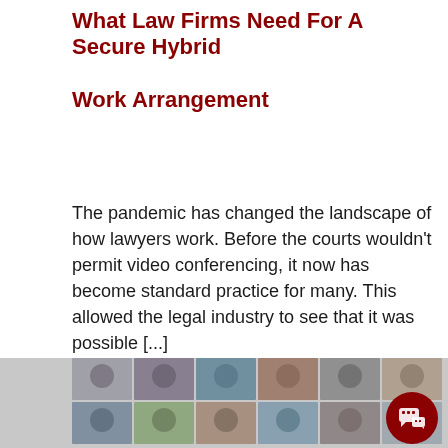What Law Firms Need For A Secure Hybrid Work Arrangement
The pandemic has changed the landscape of how lawyers work. Before the courts wouldn't permit video conferencing, it now has become standard practice for many. This allowed the legal industry to see that it was possible [...]
read more
[Figure (photo): A grid of video conference call participants shown in a tiled layout, resembling a virtual meeting screenshot.]